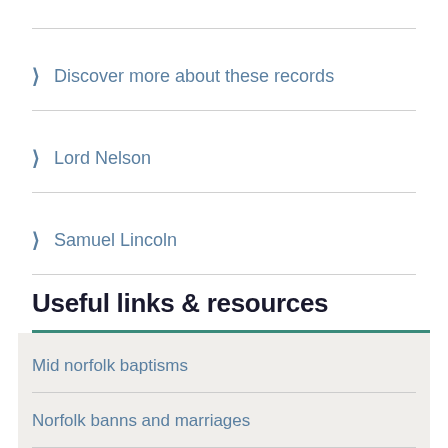Discover more about these records
Lord Nelson
Samuel Lincoln
Useful links & resources
Mid norfolk baptisms
Norfolk banns and marriages
Norfolk burials